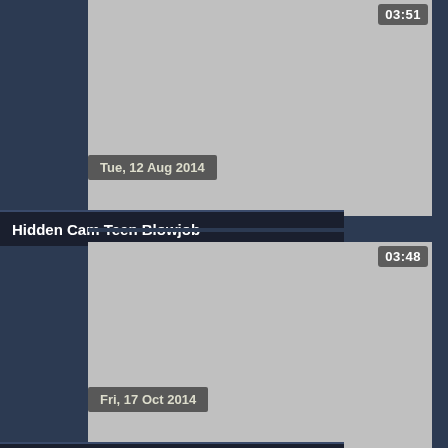[Figure (screenshot): Video thumbnail placeholder (gray) with duration badge showing 03:51, date badge Tue, 12 Aug 2014, and title bar Hidden Cam Teen Blowjob]
[Figure (screenshot): Video thumbnail placeholder (gray) with duration badge showing 03:48, date badge Fri, 17 Oct 2014, and title bar hidden cam my wife]